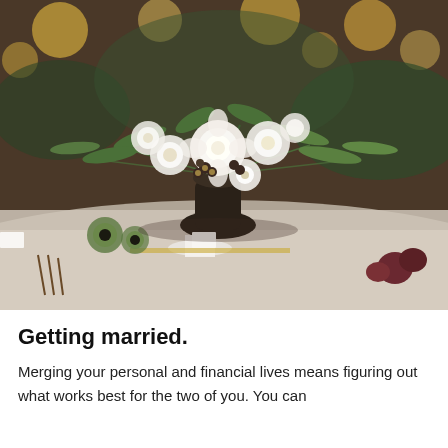[Figure (photo): A wedding reception table centerpiece featuring white roses, white dahlias, and lush green foliage in a dark vase on a white tablecloth, with bokeh lights in the background and place settings including a small white card holder, forks, and decorative fruits.]
Getting married.
Merging your personal and financial lives means figuring out what works best for the two of you. You can